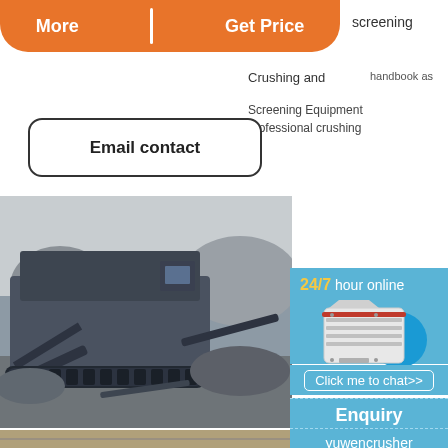More    Get Price
screening
Crushing and
Email contact
Screening Equipment
professional crushing
[Figure (photo): Large industrial mobile crushing and screening machinery on a quarry site, black and white machinery with multiple conveyor belts]
[Figure (photo): Aerial view of mobile crusher and excavator on a construction/mining site with sandy terrain]
24/7 hour online
[Figure (illustration): White industrial jaw crusher machine illustration with blue circle accent, on blue background]
Click me to chat>>
Enquiry
yuwencrusher